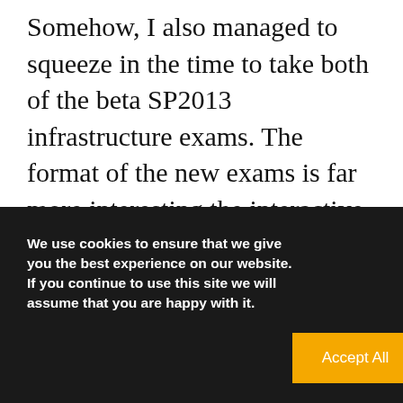Somehow, I also managed to squeeze in the time to take both of the beta SP2013 infrastructure exams. The format of the new exams is far more interesting the interactive than the old multiple choice exams. The new generation of exams require you to drag and drop server topologies onto a map, complete
We use cookies to ensure that we give you the best experience on our website. If you continue to use this site we will assume that you are happy with it.